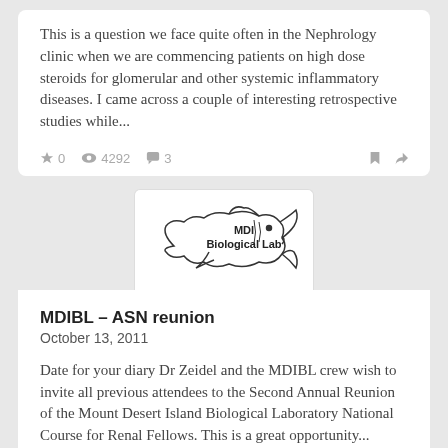This is a question we face quite often in the Nephrology clinic when we are commencing patients on high dose steroids for glomerular and other systemic inflammatory diseases. I came across a couple of interesting retrospective studies while...
0  4292  3
[Figure (logo): MDI Biological Lab logo — shark outline with text 'MDI Biological Lab']
MDIBL – ASN reunion
October 13, 2011
Date for your diary Dr Zeidel and the MDIBL crew wish to invite all previous attendees to the Second Annual Reunion of the Mount Desert Island Biological Laboratory National Course for Renal Fellows. This is a great opportunity...